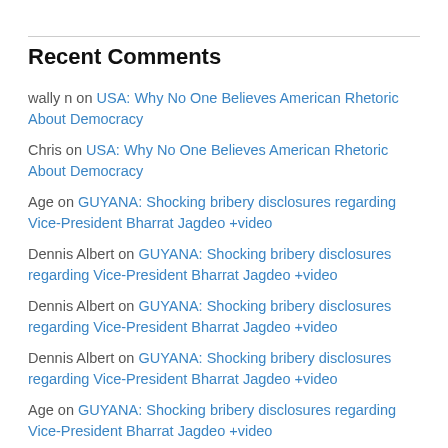Recent Comments
wally n on USA: Why No One Believes American Rhetoric About Democracy
Chris on USA: Why No One Believes American Rhetoric About Democracy
Age on GUYANA: Shocking bribery disclosures regarding Vice-President Bharrat Jagdeo +video
Dennis Albert on GUYANA: Shocking bribery disclosures regarding Vice-President Bharrat Jagdeo +video
Dennis Albert on GUYANA: Shocking bribery disclosures regarding Vice-President Bharrat Jagdeo +video
Dennis Albert on GUYANA: Shocking bribery disclosures regarding Vice-President Bharrat Jagdeo +video
Age on GUYANA: Shocking bribery disclosures regarding Vice-President Bharrat Jagdeo +video
Age on GUYANA: Shocking bribery disclosures regarding Vice-President Bharrat Jagdeo +video